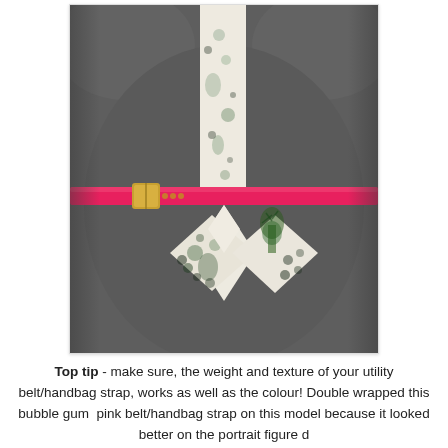[Figure (photo): Close-up photo of a dark gray/charcoal sleeveless dress on a mannequin. The dress features a white floral-patterned center panel running vertically, a bright bubble-gum pink patent leather belt/handbag strap wrapped around the waist with a gold buckle, and a diamond-shaped white floral patterned pocket detail at the lower front.]
Top tip - make sure, the weight and texture of your utility belt/handbag strap, works as well as the colour! Double wrapped this bubble gum pink belt/handbag strap on this model because it looked better on the portrait figure d